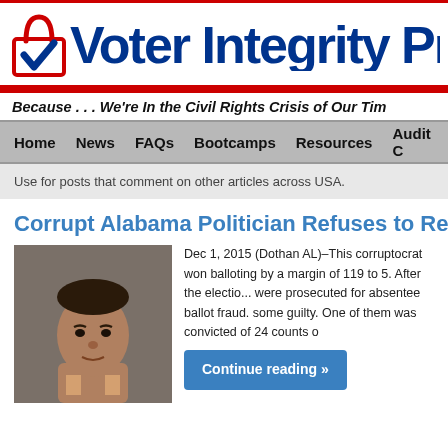[Figure (logo): Voter Integrity Project logo with padlock icon, red lines, and blue bold text]
Because . . . We're In the Civil Rights Crisis of Our Ti...
Home  News  FAQs  Bootcamps  Resources  Audit C...
Use for posts that comment on other articles across USA.
Corrupt Alabama Politician Refuses to Resig...
[Figure (photo): Mugshot photo of an older African American man]
Dec 1, 2015 (Dothan AL)–This corruptocrat won balloting by a margin of 119 to 5. After the election, were prosecuted for absentee ballot fraud. some guilty. One of them was convicted of 24 counts o...
Continue reading »